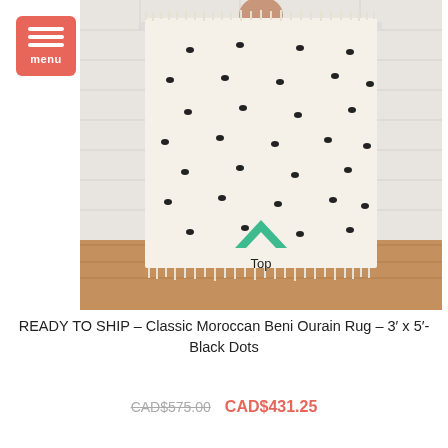[Figure (photo): A woman holding up a cream-colored Moroccan Beni Ourain rug with black dots, standing in front of a white brick wall. The rug has tassel fringes at the top and bottom. A teal chevron/arrow pointing up with the text 'Top' is overlaid on the lower portion of the rug.]
READY TO SHIP – Classic Moroccan Beni Ourain Rug – 3' x 5'- Black Dots
CAD$575.00  CAD$431.25